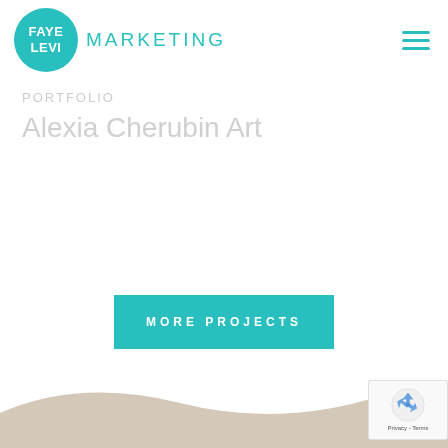[Figure (logo): Faye Levi Marketing logo: teal circle with white FAYE LEVI text, followed by MARKETING in teal letters]
PORTFOLIO
Alexia Cherubin Art
MORE PROJECTS
[Figure (illustration): Sand/beige wave shape at bottom of page]
[Figure (other): reCAPTCHA badge showing recycling arrows icon and Privacy - Terms text]